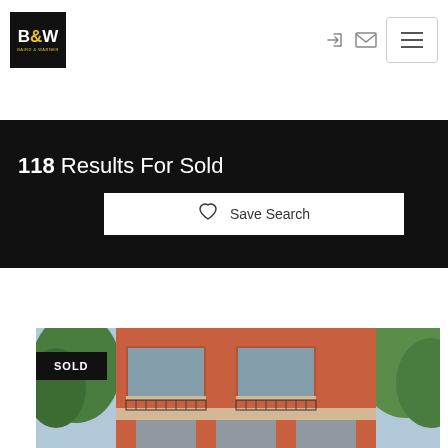[Figure (logo): Baird & Warner B&W logo — black square with white B&W text and yellow ampersand]
118 Results For Sold
Save Search
[Figure (photo): Photo of a brick residential building with balconies and green trees, with a SOLD badge overlay]